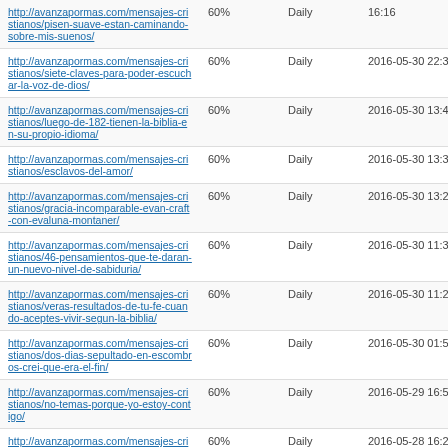| URL | Priority | Change Frequency | Last Modified |
| --- | --- | --- | --- |
| http://avanzapormas.com/mensajes-cristianos/pisen-suave-estan-caminando-sobre-mis-suenos/ | 60% | Daily | 16:16 |
| http://avanzapormas.com/mensajes-cristianos/siete-claves-para-poder-escuchar-la-voz-de-dios/ | 60% | Daily | 2016-05-30 22:32 |
| http://avanzapormas.com/mensajes-cristianos/luego-de-182-tienen-la-biblia-en-su-propio-idioma/ | 60% | Daily | 2016-05-30 13:48 |
| http://avanzapormas.com/mensajes-cristianos/esclavos-del-amor/ | 60% | Daily | 2016-05-30 13:37 |
| http://avanzapormas.com/mensajes-cristianos/gracia-incomparable-evan-craft-con-evaluna-montaner/ | 60% | Daily | 2016-05-30 13:26 |
| http://avanzapormas.com/mensajes-cristianos/46-pensamientos-que-te-daran-un-nuevo-nivel-de-sabiduria/ | 60% | Daily | 2016-05-30 11:34 |
| http://avanzapormas.com/mensajes-cristianos/veras-resultados-de-tu-fe-cuando-aceptes-vivir-segun-la-biblia/ | 60% | Daily | 2016-05-30 11:29 |
| http://avanzapormas.com/mensajes-cristianos/dos-dias-sepultado-en-escombros-crei-que-era-el-fin/ | 60% | Daily | 2016-05-30 01:52 |
| http://avanzapormas.com/mensajes-cristianos/no-temas-porque-yo-estoy-contigo/ | 60% | Daily | 2016-05-29 16:53 |
| http://avanzapormas.com/mensajes-cristianos/profecias-cumplidas-y-revelaciones-de-tom-horn/ | 60% | Daily | 2016-05-28 16:22 |